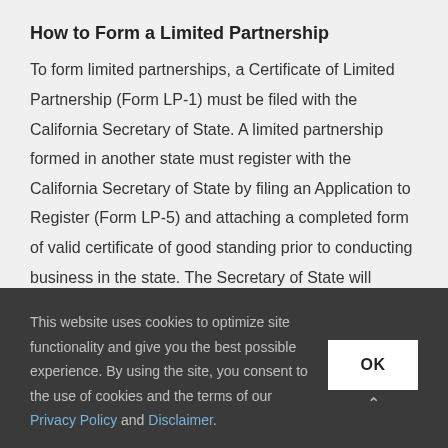How to Form a Limited Partnership
To form limited partnerships, a Certificate of Limited Partnership (Form LP-1) must be filed with the California Secretary of State. A limited partnership formed in another state must register with the California Secretary of State by filing an Application to Register (Form LP-5) and attaching a completed form of valid certificate of good standing prior to conducting business in the state. The Secretary of State will assign a 12-digit filing number. Keep this filing number for your tax records. Contact the
This website uses cookies to optimize site functionality and give you the best possible experience. By using the site, you consent to the use of cookies and the terms of our Privacy Policy and Disclaimer.